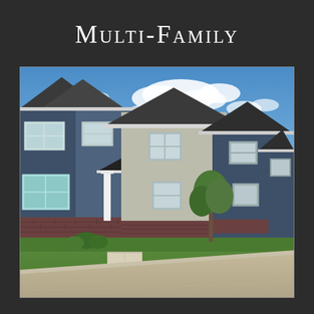Multi-Family
[Figure (photo): Exterior photograph of a row of two-story multi-family townhome units with blue and gray horizontal siding, white trim, dark metal gabled roofs over front entrances, brick foundation accents, white columns framing front doors, green lawns, shrubs, and a sidewalk in the foreground under a bright blue sky with white clouds.]